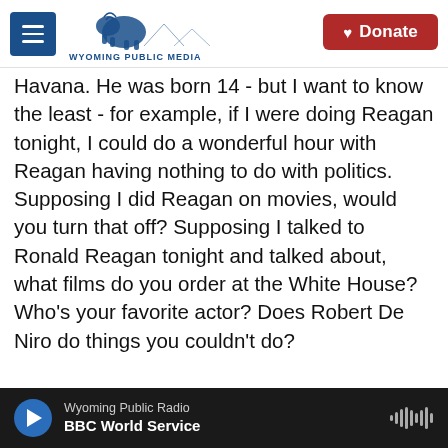Wyoming Public Media | Donate
Havana. He was born 14 - but I want to know the least - for example, if I were doing Reagan tonight, I could do a wonderful hour with Reagan having nothing to do with politics. Supposing I did Reagan on movies, would you turn that off? Supposing I talked to Ronald Reagan tonight and talked about, what films do you order at the White House? Who's your favorite actor? Does Robert De Niro do things you couldn't do?
See - because now I would spend the first half hour talking about something he spent 60 years of his life doing because everybody loves to talk about
Wyoming Public Radio | BBC World Service